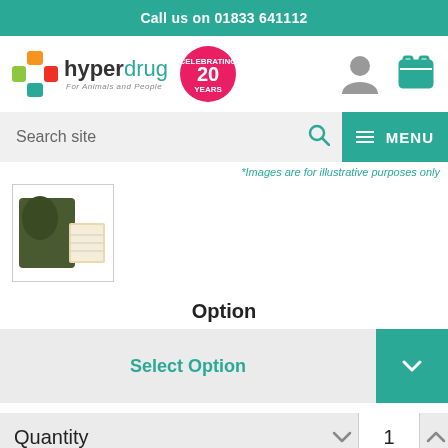Call us on 01833 641112
[Figure (logo): Hyperdrug logo with 'For Animals and People' tagline and 20 Years celebrating badge]
Search site
MENU
*Images are for illustrative purposes only
[Figure (photo): Product thumbnail image showing an animal product with packaging]
Option
Select Option
Quantity
1